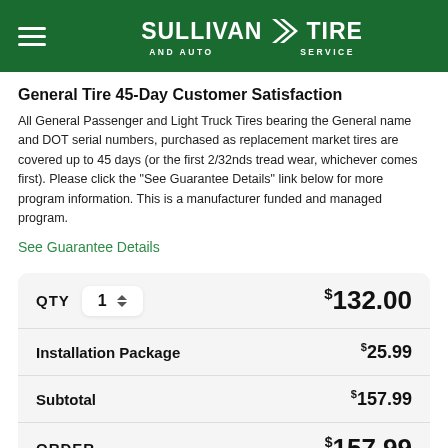Sullivan Tire and Auto Service
General Tire 45-Day Customer Satisfaction
All General Passenger and Light Truck Tires bearing the General name and DOT serial numbers, purchased as replacement market tires are covered up to 45 days (or the first 2/32nds tread wear, whichever comes first). Please click the "See Guarantee Details" link below for more program information. This is a manufacturer funded and managed program.
See Guarantee Details
| Item | Price |
| --- | --- |
| QTY 1 | $132.00 |
| Installation Package | $25.99 |
| Subtotal | $157.99 |
| ORDER | $157.99 |